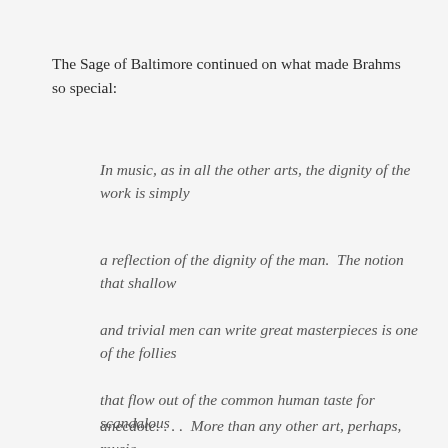The Sage of Baltimore continued on what made Brahms so special:
In music, as in all the other arts, the dignity of the work is simply
a reflection of the dignity of the man.  The notion that shallow
and trivial men can write great masterpieces is one of the follies
that flow out of the common human taste for scandalous
anecdote. . . .  More than any other art, perhaps, music